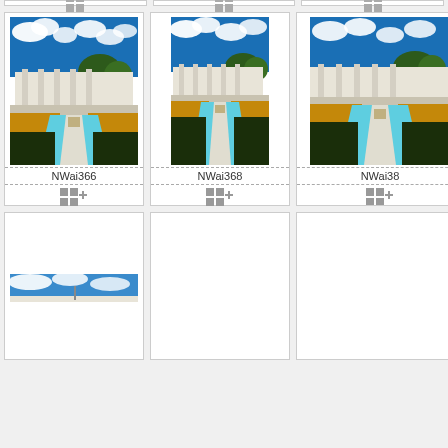[Figure (screenshot): Photo gallery grid showing image thumbnails with labels NWai366, NWai368, NWai38x (partial). Two rows visible plus partial top strip. Images show white building with garden and fountain under blue sky with clouds. Bottom row shows one wide landscape image and two empty cards.]
NWai366
NWai368
NWai38